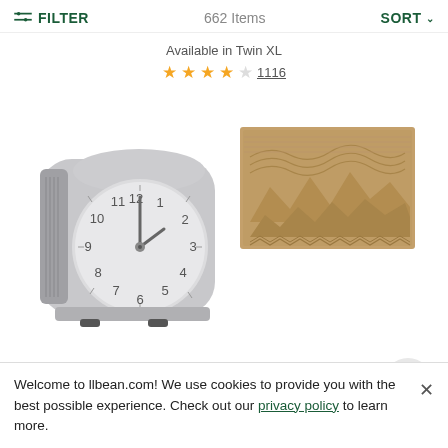FILTER   662 Items   SORT
Available in Twin XL
★★★★☆ 1116
[Figure (photo): Gray alarm clock with analog face showing numbers 1-12, white rounded body with ribbed side, sitting on small black feet]
[Figure (photo): Brown textured door mat with mountain and wave pattern in relief design]
TOP
Welcome to llbean.com! We use cookies to provide you with the best possible experience. Check out our privacy policy to learn more.